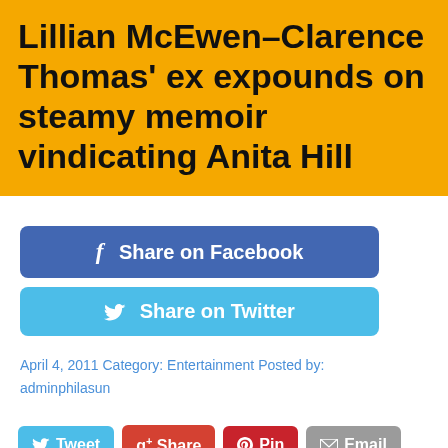Lillian McEwen–Clarence Thomas' ex expounds on steamy memoir vindicating Anita Hill
[Figure (infographic): Facebook share button (blue rounded rectangle) and Twitter share button (light blue rounded rectangle)]
April 4, 2011 Category: Entertainment Posted by: adminphilasun
[Figure (infographic): Row of four social sharing buttons: Tweet (blue), Share (red Google+), Pin (dark red Pinterest), Email (gray)]